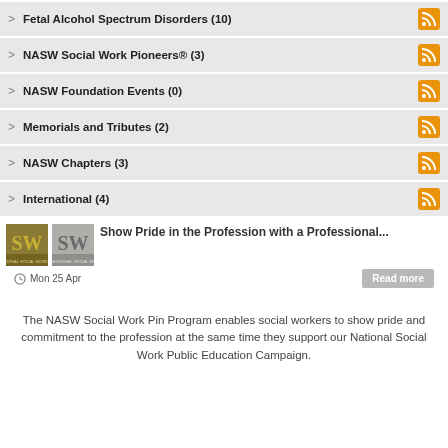Fetal Alcohol Spectrum Disorders (10)
NASW Social Work Pioneers® (3)
NASW Foundation Events (0)
Memorials and Tributes (2)
NASW Chapters (3)
International (4)
[Figure (photo): Two SW (Professional Social Worker) pin images side by side]
Show Pride in the Profession with a Professional...
Mon 25 Apr
Read more
The NASW Social Work Pin Program enables social workers to show pride and commitment to the profession at the same time they support our National Social Work Public Education Campaign.